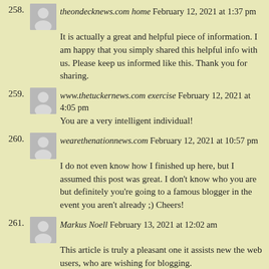258. theondecknews.com home February 12, 2021 at 1:37 pm
It is actually a great and helpful piece of information. I am happy that you simply shared this helpful info with us. Please keep us informed like this. Thank you for sharing.
259. www.thetuckernews.com exercise February 12, 2021 at 4:05 pm
You are a very intelligent individual!
260. wearethennationnews.com February 12, 2021 at 10:57 pm
I do not even know how I finished up here, but I assumed this post was great. I don't know who you are but definitely you're going to a famous blogger in the event you aren't already ;) Cheers!
261. Markus Noell February 13, 2021 at 12:02 am
This article is truly a pleasant one it assists new the web users, who are wishing for blogging.